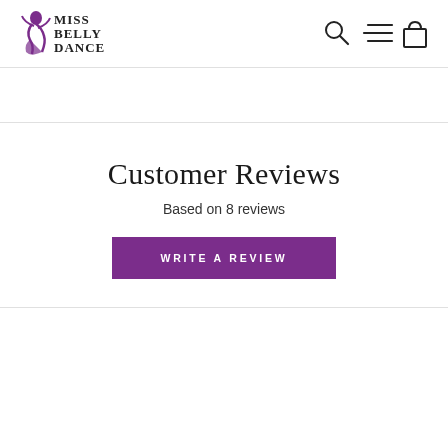[Figure (logo): Miss Belly Dance logo with purple dancer silhouette and stylized text]
[Figure (other): Navigation icons: search (magnifying glass), menu (hamburger lines), cart (shopping bag)]
Customer Reviews
Based on 8 reviews
WRITE A REVIEW